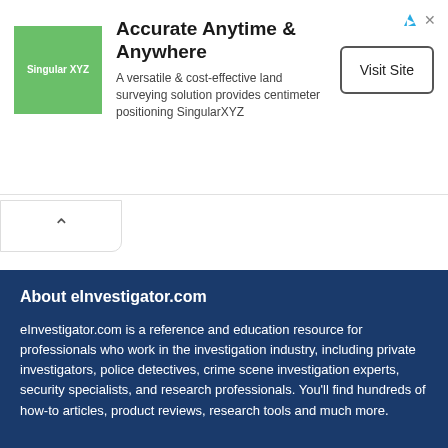[Figure (other): SingularXYZ advertisement banner with green logo, headline, body copy, and Visit Site button]
About eInvestigator.com
eInvestigator.com is a reference and education resource for professionals who work in the investigation industry, including private investigators, police detectives, crime scene investigation experts, security specialists, and research professionals. You'll find hundreds of how-to articles, product reviews, research tools and much more.